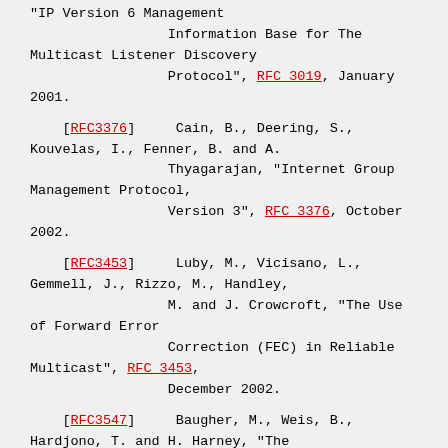"IP Version 6 Management Information Base for The Multicast Listener Discovery Protocol", RFC 3019, January 2001.
[RFC3376]   Cain, B., Deering, S., Kouvelas, I., Fenner, B. and A. Thyagarajan, "Internet Group Management Protocol, Version 3", RFC 3376, October 2002.
[RFC3453]   Luby, M., Vicisano, L., Gemmell, J., Rizzo, M., Handley, M. and J. Crowcroft, "The Use of Forward Error Correction (FEC) in Reliable Multicast", RFC 3453, December 2002.
[RFC3547]   Baugher, M., Weis, B., Hardjono, T. and H. Harney, "The